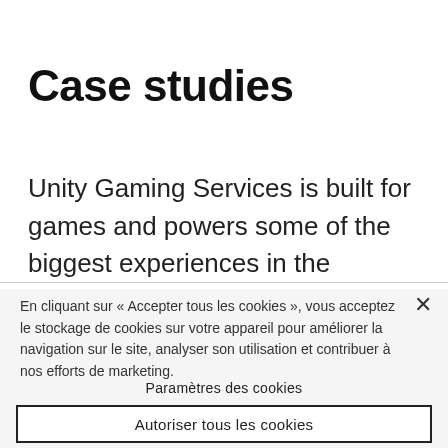Case studies
Unity Gaming Services is built for games and powers some of the biggest experiences in the
En cliquant sur « Accepter tous les cookies », vous acceptez le stockage de cookies sur votre appareil pour améliorer la navigation sur le site, analyser son utilisation et contribuer à nos efforts de marketing.
Paramètres des cookies
Autoriser tous les cookies